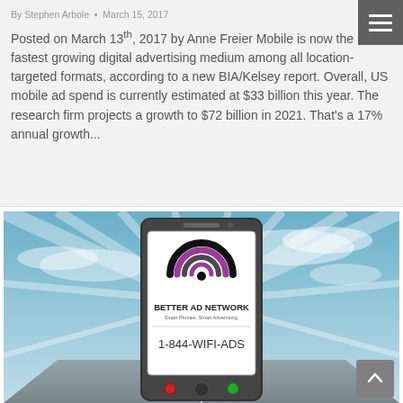By Stephen Arbole • March 15, 2017
Posted on March 13th, 2017 by Anne Freier Mobile is now the fastest growing digital advertising medium among all location-targeted formats, according to a new BIA/Kelsey report. Overall, US mobile ad spend is currently estimated at $33 billion this year. The research firm projects a growth to $72 billion in 2021. That's a 17% annual growth...
[Figure (illustration): Smartphone displaying Better Ad Network logo and 1-844-WIFI-ADS phone number, set against a blue sky with radiating light rays in the background.]